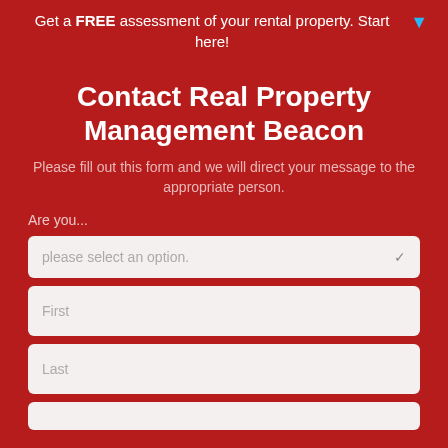Get a FREE assessment of your rental property. Start here!
Contact Real Property Management Beacon
Please fill out this form and we will direct your message to the appropriate person.
Are you...
please select an option.
First
Last